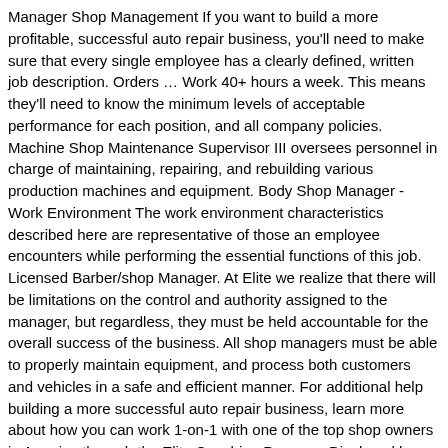Manager Shop Management If you want to build a more profitable, successful auto repair business, you'll need to make sure that every single employee has a clearly defined, written job description. Orders … Work 40+ hours a week. This means they'll need to know the minimum levels of acceptable performance for each position, and all company policies. Machine Shop Maintenance Supervisor III oversees personnel in charge of maintaining, repairing, and rebuilding various production machines and equipment. Body Shop Manager - Work Environment The work environment characteristics described here are representative of those an employee encounters while performing the essential functions of this job. Licensed Barber/shop Manager. At Elite we realize that there will be limitations on the control and authority assigned to the manager, but regardless, they must be held accountable for the overall success of the business. All shop managers must be able to properly maintain equipment, and process both customers and vehicles in a safe and efficient manner. For additional help building a more successful auto repair business, learn more about how you can work 1-on-1 with one of the top shop owners in America through the Elite Coaching Program. Displayed here are job ads that match your query. Essential Job Functions – Mechanic's Assistant: * Fuel Prepare accurate and detailed repair orders that … The employment website Zippia outlines typical equipment supervisor duties and responsibilities, though job descriptions will vary depending on employer. I was a mechanic and